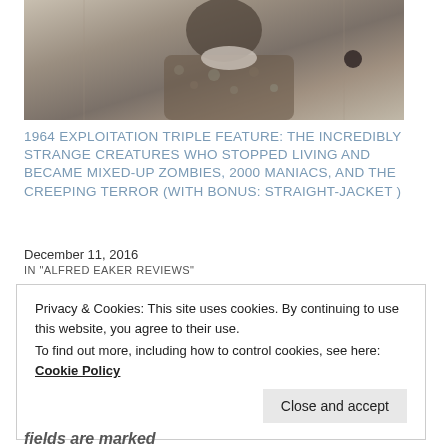[Figure (photo): Black and white photograph of a person wearing a floral patterned outfit, partially cropped, with curtains or fabric in the background.]
1964 EXPLOITATION TRIPLE FEATURE: THE INCREDIBLY STRANGE CREATURES WHO STOPPED LIVING AND BECAME MIXED-UP ZOMBIES, 2000 MANIACS, AND THE CREEPING TERROR (WITH BONUS: STRAIGHT-JACKET )
December 11, 2016
IN "ALFRED EAKER REVIEWS"
Privacy & Cookies: This site uses cookies. By continuing to use this website, you agree to their use.
To find out more, including how to control cookies, see here:
Cookie Policy
Close and accept
fields are marked